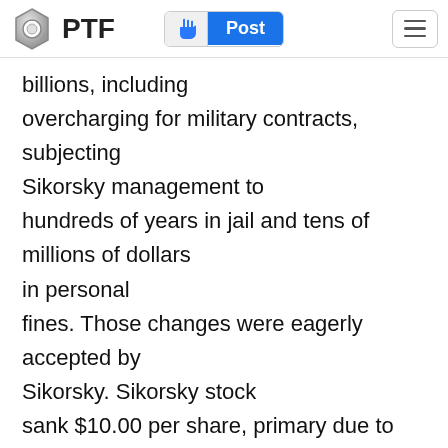PTF  Post
billions, including overcharging for military contracts, subjecting Sikorsky management to hundreds of years in jail and tens of millions of dollars in personal fines. Those changes were eagerly accepted by Sikorsky. Sikorsky stock sank $10.00 per share, primary due to disappointment of greedy investors but its credibility as a good corporate citizen rose to highest levels since the invention of the helicopter. Sikorsky issued the following statement: "We acknowledge Sikorsky Sucks and the modeling industry for their